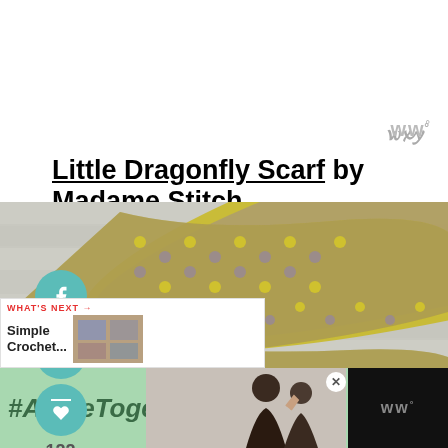Little Dragonfly Scarf by Madame Stitch
[Figure (photo): A crocheted scarf with yellow and purple pattern, displayed against a white wooden background]
122 SHARES
[Figure (infographic): What's Next promotional widget showing Simple Crochet... with thumbnail image]
[Figure (photo): #AloneTogether advertisement banner showing a smiling family]